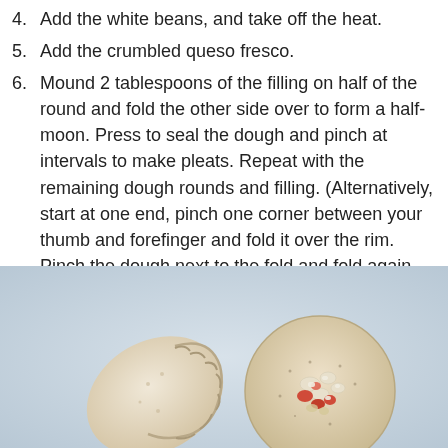4. Add the white beans, and take off the heat.
5. Add the crumbled queso fresco.
6. Mound 2 tablespoons of the filling on half of the round and fold the other side over to form a half-moon. Press to seal the dough and pinch at intervals to make pleats. Repeat with the remaining dough rounds and filling. (Alternatively, start at one end, pinch one corner between your thumb and forefinger and fold it over the rim. Pinch the dough next to the fold and fold again. Continue pinching and folding to create a decorative rope rim.)
[Figure (photo): Two empanadas on a light blue/grey surface: one fully formed half-moon shaped empanada on the left, and one open round dough circle with filling (red tomatoes, white cheese, light-colored beans) on the right.]